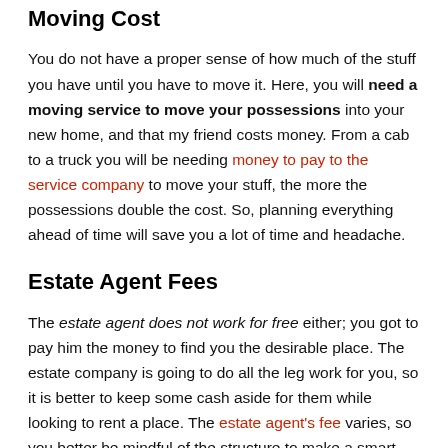Moving Cost
You do not have a proper sense of how much of the stuff you have until you have to move it. Here, you will need a moving service to move your possessions into your new home, and that my friend costs money. From a cab to a truck you will be needing money to pay to the service company to move your stuff, the more the possessions double the cost. So, planning everything ahead of time will save you a lot of time and headache.
Estate Agent Fees
The estate agent does not work for free either; you got to pay him the money to find you the desirable place. The estate company is going to do all the leg work for you, so it is better to keep some cash aside for them while looking to rent a place. The estate agent's fee varies, so you better be mindful of the structure to make a smart